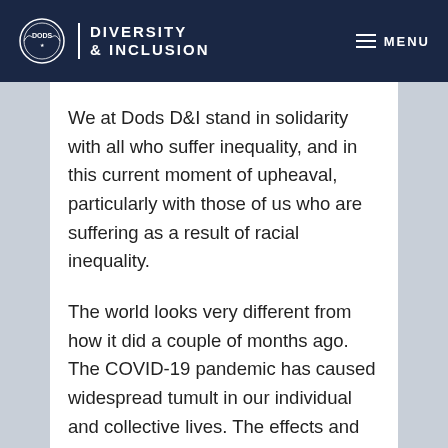DODS | DIVERSITY & INCLUSION   MENU
We at Dods D&I stand in solidarity with all who suffer inequality, and in this current moment of upheaval, particularly with those of us who are suffering as a result of racial inequality.
The world looks very different from how it did a couple of months ago. The COVID-19 pandemic has caused widespread tumult in our individual and collective lives. The effects and costs of this upset has been unequal, however. The negative impact on health, income and wellbeing has been